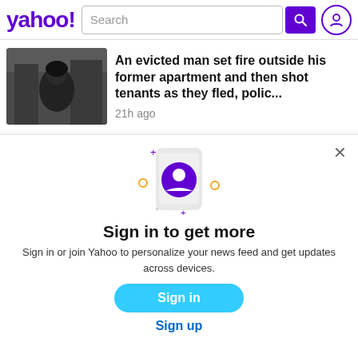yahoo! Search
An evicted man set fire outside his former apartment and then shot tenants as they fled, polic...
21h ago
[Figure (screenshot): Sign in modal with phone/user icon illustration]
Sign in to get more
Sign in or join Yahoo to personalize your news feed and get updates across devices.
Sign in
Sign up